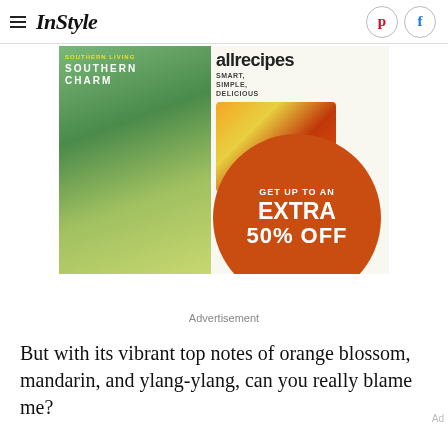InStyle
[Figure (infographic): Magazine subscription advertisement showing Southern Charm and allrecipes magazine covers with an orange circle overlay reading GET UP TO AN EXTRA 50% OFF on a pink/magenta background]
Advertisement
But with its vibrant top notes of orange blossom, mandarin, and ylang-ylang, can you really blame me?